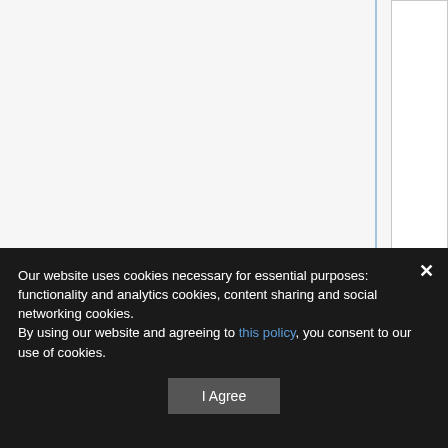[Figure (table-as-image): Partial table visible at the top of the page with column dividers, white background, on a gray wiki-style page layout with blue vertical sidebar line]
You cannot overwrite this file.
File usage
There are no pages that link to this file.
Our website uses cookies necessary for essential purposes: functionality and analytics cookies, content sharing and social networking cookies.
By using our website and agreeing to this policy, you consent to our use of cookies.